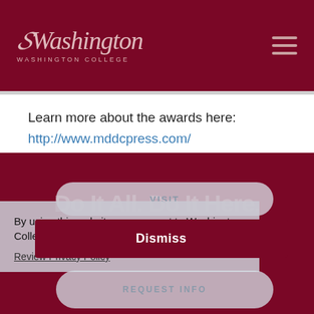Washington College
Learn more about the awards here:
http://www.mddcpress.com/
By using this website you consent to Washington College's privacy policy.
Review Privacy Policy
VISIT
Dismiss
REQUEST INFO